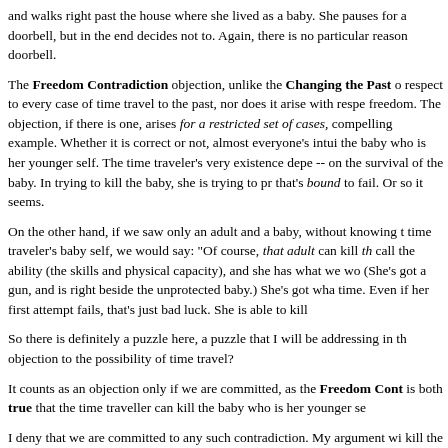and walks right past the house where she lived as a baby. She pauses for a doorbell, but in the end decides not to. Again, there is no particular reason doorbell.
The Freedom Contradiction objection, unlike the Changing the Past objection, does not arise with respect to every case of time travel to the past, nor does it arise with respect to every case involving freedom. The objection, if there is one, arises for a restricted set of cases, and our example is a compelling example. Whether it is correct or not, almost everyone's intuition is that she cannot kill the baby who is her younger self. The time traveler's very existence depends -- on the survival of the baby. In trying to kill the baby, she is trying to prevent something that's bound to fail. Or so it seems.
On the other hand, if we saw only an adult and a baby, without knowing that the adult is the time traveler's baby self, we would say: "Of course, that adult can kill the baby." We call the ability (the skills and physical capacity), and she has what we would call the opportunity. (She's got a gun, and is right beside the unprotected baby.) She's got what it takes to do it this time. Even if her first attempt fails, that's just bad luck. She is able to kill.
So there is definitely a puzzle here, a puzzle that I will be addressing in the next chapter. Is it an objection to the possibility of time travel?
It counts as an objection only if we are committed, as the Freedom Contradiction claim is both true that the time traveller can kill the baby who is her younger self.
I deny that we are committed to any such contradiction. My argument will be that she cannot kill the baby who is her younger self, given what we ordinarily mean by ability, or else that because we are relying on an assumption about ability to which we are not committed.
I also deny that there is any other case in which we are committed to inc